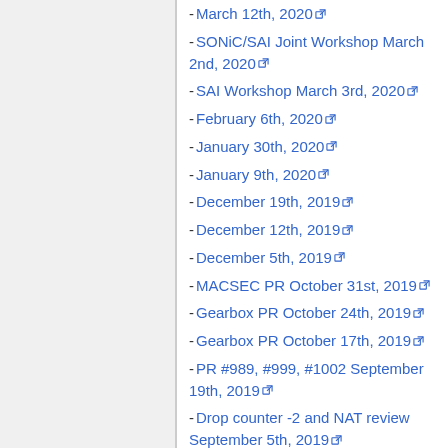- March 12th, 2020
- SONiC/SAI Joint Workshop March 2nd, 2020
- SAI Workshop March 3rd, 2020
- February 6th, 2020
- January 30th, 2020
- January 9th, 2020
- December 19th, 2019
- December 12th, 2019
- December 5th, 2019
- MACSEC PR October 31st, 2019
- Gearbox PR October 24th, 2019
- Gearbox PR October 17th, 2019
- PR #989, #999, #1002 September 19th, 2019
- Drop counter -2 and NAT review September 5th, 2019
- Debug counters proposal August 29th, 2019